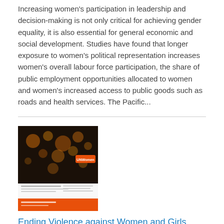Increasing women's participation in leadership and decision-making is not only critical for achieving gender equality, it is also essential for general economic and social development. Studies have found that longer exposure to women's political representation increases women's overall labour force participation, the share of public employment opportunities allocated to women and women's increased access to public goods such as roads and health services. The Pacific...
[Figure (illustration): Thumbnail image of a document titled 'Ending Violence against Women and Girls' with an orange and dark background showing lights/bokeh effects at top and an orange footer band.]
Ending Violence against Women and Girls
Date: Tuesday, 16 February 2016
A snapshot of UN Women's Ending Violence against Women and Girls programme delivered by the Fiji Multi-Country Office. Covering 14 Pacific countries and territories, the programme supports Pacific-led activities to improve the policy environment on ending violence against women and girls as well as to meet the immediate